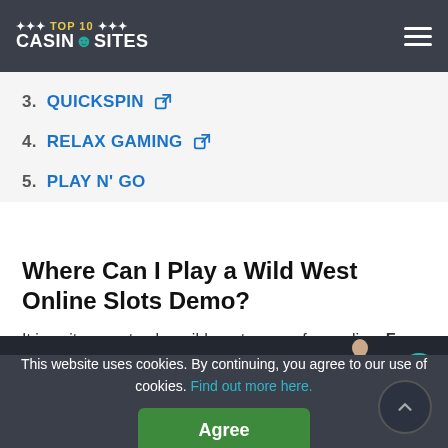TOP 10 CASINOSITES
3. QUICKSPIN
4. RELAX GAMING
5. PLAY N' GO
Where Can I Play a Wild West Online Slots Demo?
It is quite easy to play wild west games free online. For a wild
[Figure (infographic): Live casino banner with LIVE badge, PLAY FREE LIVE CASINO text, woman silhouette, and teal arrow button]
This website uses cookies. By continuing, you agree to our use of cookies. Find out more here.
Agree